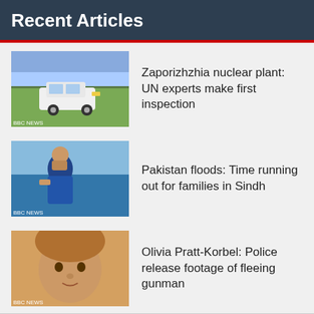Recent Articles
[Figure (photo): BBC News thumbnail showing a white UN vehicle in a green landscape]
Zaporizhzhia nuclear plant: UN experts make first inspection
[Figure (photo): BBC News thumbnail showing a man in blue shirt covering his face near flood water]
Pakistan floods: Time running out for families in Sindh
[Figure (photo): BBC News thumbnail showing a child's face]
Olivia Pratt-Korbel: Police release footage of fleeing gunman
Search for
Best Way to Lose Stomach Fat